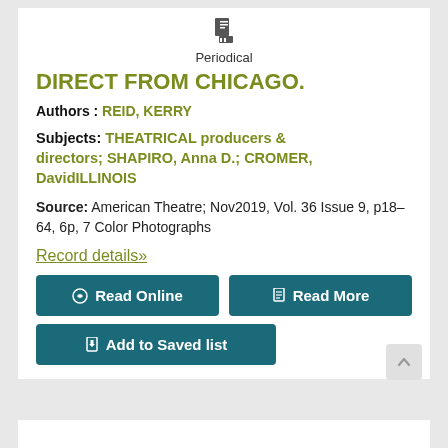Periodical
DIRECT FROM CHICAGO.
Authors : REID, KERRY
Subjects: THEATRICAL producers & directors; SHAPIRO, Anna D.; CROMER, DavidILLINOIS
Source: American Theatre; Nov2019, Vol. 36 Issue 9, p18-64, 6p, 7 Color Photographs
Record details»
Read Online
Read More
Add to Saved list